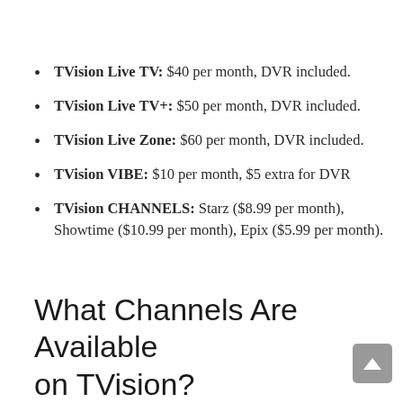TVision Live TV: $40 per month, DVR included.
TVision Live TV+: $50 per month, DVR included.
TVision Live Zone: $60 per month, DVR included.
TVision VIBE: $10 per month, $5 extra for DVR
TVision CHANNELS: Starz ($8.99 per month), Showtime ($10.99 per month), Epix ($5.99 per month).
What Channels Are Available on TVision?